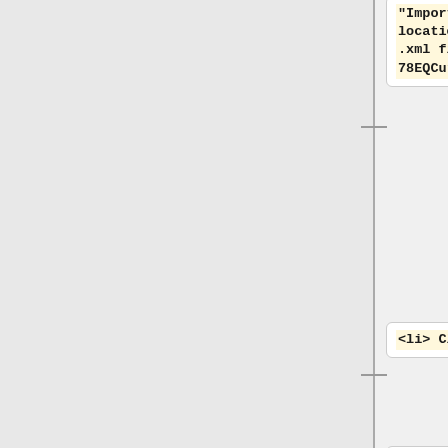"Import...", navigate to the location where you saved the .xml file from 78EQCurveGen.ny, then "Open".
<li> Click "OK". </ol>
==Equalization (EQ) Curves Explained==
When phonograph records are made, the sound being recorded is deliberately distorted by